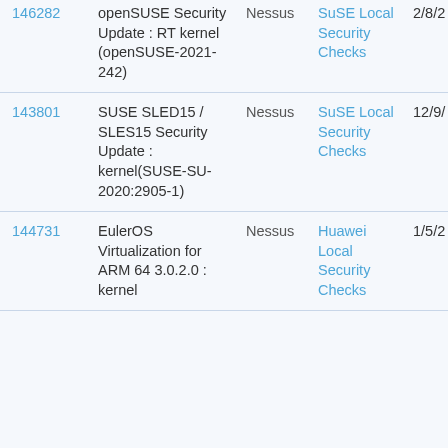| ID | Name | Source | Category | Date |
| --- | --- | --- | --- | --- |
| 146282 | openSUSE Security Update : RT kernel (openSUSE-2021-242) | Nessus | SuSE Local Security Checks | 2/8/2 |
| 143801 | SUSE SLED15 / SLES15 Security Update : kernel(SUSE-SU-2020:2905-1) | Nessus | SuSE Local Security Checks | 12/9/ |
| 144731 | EulerOS Virtualization for ARM 64 3.0.2.0 : kernel | Nessus | Huawei Local Security Checks | 1/5/2 |